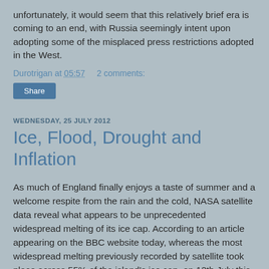unfortunately, it would seem that this relatively brief era is coming to an end, with Russia seemingly intent upon adopting some of the misplaced press restrictions adopted in the West.
Durotrigan at 05:57    2 comments:
Share
WEDNESDAY, 25 JULY 2012
Ice, Flood, Drought and Inflation
As much of England finally enjoys a taste of summer and a welcome respite from the rain and the cold, NASA satellite data reveal what appears to be unprecedented widespread melting of its ice cap. According to an article appearing on the BBC website today, whereas the most widespread melting previously recorded by satellite took place across 55% of the island's ice cap, on 12th July this year ice melt took place across 97% of its surface area. Melting was even recorded at Summit station, something that has not occurred